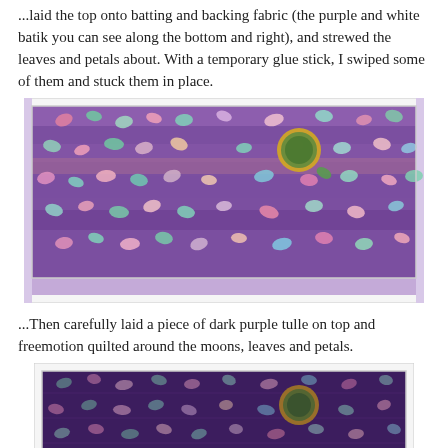...laid the top onto batting and backing fabric (the purple and white batik you can see along the bottom and right), and strewed the leaves and petals about. With a temporary glue stick, I swiped some of them and stuck them in place.
[Figure (photo): A quilt top with colorful fabric leaves and petals (pink, green, teal, white) scattered on a purple striped background, with a round yellow-bordered green center piece. A purple and white batik fabric is visible along the edges.]
...Then carefully laid a piece of dark purple tulle on top and freemotion quilted around the moons, leaves and petals.
[Figure (photo): The same quilt top now covered with dark purple tulle, giving a more muted, layered look. The colorful leaves and petals are still visible through the tulle, with the round yellow-bordered green center piece prominent. The background appears darker due to the tulle layer.]